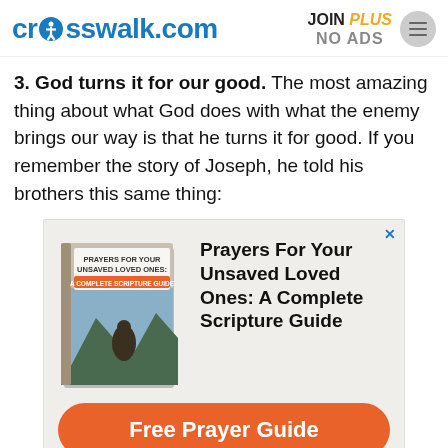crosswalk.com | JOIN PLUS NO ADS
3. God turns it for our good. The most amazing thing about what God does with what the enemy brings our way is that he turns it for good. If you remember the story of Joseph, he told his brothers this same thing:
[Figure (infographic): Advertisement for 'Prayers For Your Unsaved Loved Ones: A Complete Scripture Guide' with book image and orange 'Free Prayer Guide' button.]